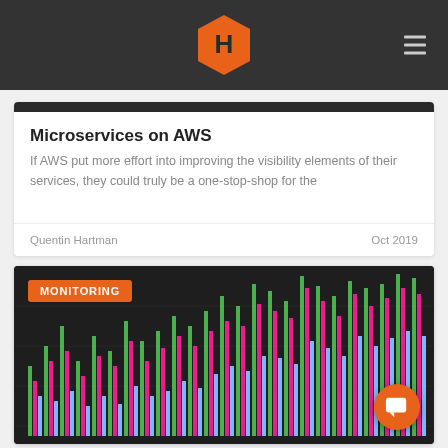Navigation bar with hexagonal logo and hamburger menu
Microservices on AWS
If AWS put more effort into improving the visibility elements of their services, they could truly be a one-stop-shop for the
Quentin Hartman    Oct 2019
[Figure (screenshot): Dark monitoring chart showing vertical bar chart with green, pink, and blue bars on a dark background, with an orange MONITORING badge in the top-left corner.]